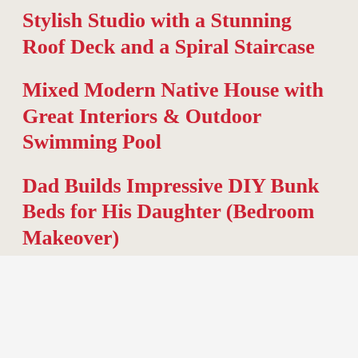Stylish Studio with a Stunning Roof Deck and a Spiral Staircase
Mixed Modern Native House with Great Interiors & Outdoor Swimming Pool
Dad Builds Impressive DIY Bunk Beds for His Daughter (Bedroom Makeover)
Advertisements